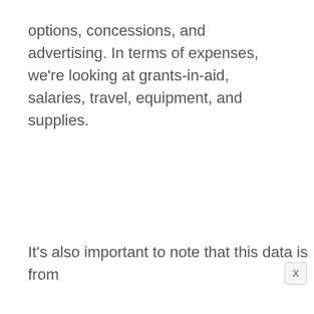options, concessions, and advertising. In terms of expenses, we're looking at grants-in-aid, salaries, travel, equipment, and supplies.
It's also important to note that this data is from